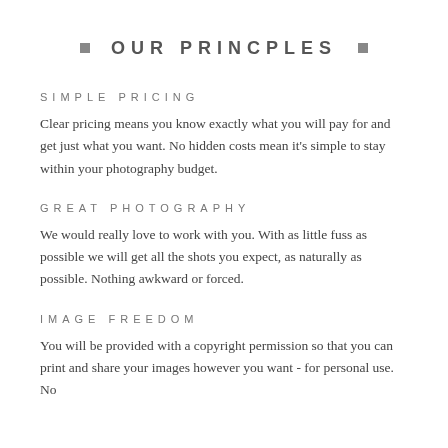OUR PRINCPLES
SIMPLE PRICING
Clear pricing means you know exactly what you will pay for and get just what you want. No hidden costs mean it's simple to stay within your photography budget.
GREAT PHOTOGRAPHY
We would really love to work with you. With as little fuss as possible we will get all the shots you expect, as naturally as possible. Nothing awkward or forced.
IMAGE FREEDOM
You will be provided with a copyright permission so that you can print and share your images however you want - for personal use. No